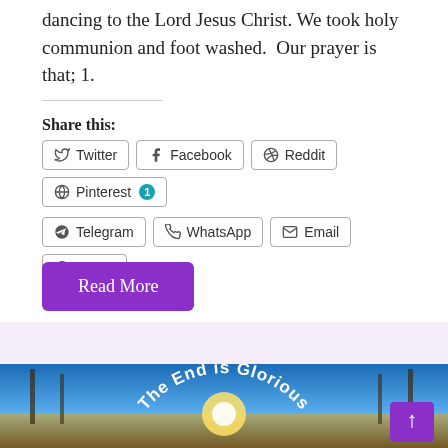dancing to the Lord Jesus Christ. We took holy communion and foot washed.  Our prayer is that; 1.
Share this:
Twitter | Facebook | Reddit | Pinterest 1 | Telegram | WhatsApp | Email | Skype
Read More
[Figure (photo): Winter landscape with sunrise over a frozen lake and bare trees, overlaid with curved text reading 'The End is Glorious'. A purple back-to-top button is visible in the bottom right corner.]